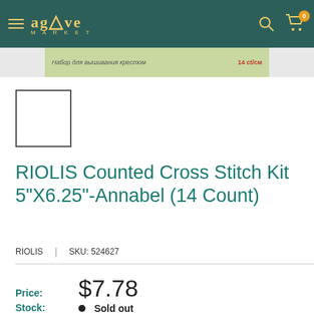Agave Market — navigation header
[Figure (screenshot): Partial product image strip showing Cyrillic text label on a light green background]
[Figure (screenshot): Small white thumbnail image placeholder with grey border]
RIOLIS Counted Cross Stitch Kit 5"X6.25"-Annabel (14 Count)
RIOLIS | SKU: 524627
Price: $7.78
Stock: • Sold out